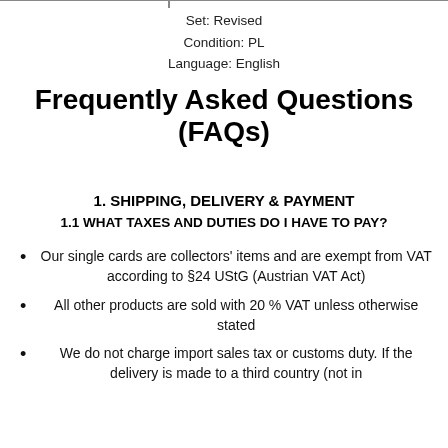Set: Revised
Condition: PL
Language: English
Frequently Asked Questions (FAQs)
1. SHIPPING, DELIVERY & PAYMENT
1.1 WHAT TAXES AND DUTIES DO I HAVE TO PAY?
Our single cards are collectors' items and are exempt from VAT according to §24 UStG (Austrian VAT Act)
All other products are sold with 20 % VAT unless otherwise stated
We do not charge import sales tax or customs duty. If the delivery is made to a third country (not in